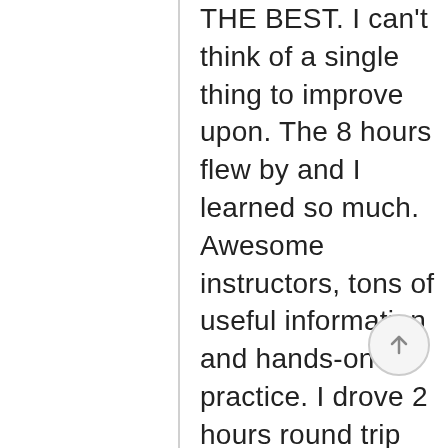THE BEST. I can't think of a single thing to improve upon. The 8 hours flew by and I learned so much. Awesome instructors, tons of useful information and hands-on practice. I drove 2 hours round trip for the class and I would absolutely do it again. Thank you Darcy, Thank you Willi...